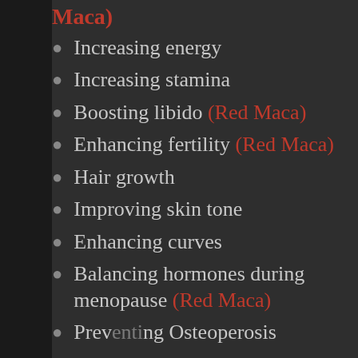Maca)
Increasing energy
Increasing stamina
Boosting libido (Red Maca)
Enhancing fertility (Red Maca)
Hair growth
Improving skin tone
Enhancing curves
Balancing hormones during menopause (Red Maca)
Preventing Osteoperosis